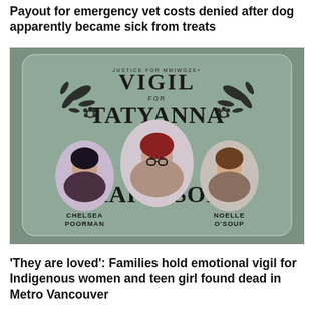Payout for emergency vet costs denied after dog apparently became sick from treats
[Figure (photo): Vigil poster for Tatyanna Harrison, featuring photos of Chelsea Poorman, Tatyanna Harrison, and Noelle O'Soup, with decorative botanical illustrations and the text 'Justice for MMIWG2S' and 'Vigil for Tatyanna Harrison']
'They are loved': Families hold emotional vigil for Indigenous women and teen girl found dead in Metro Vancouver